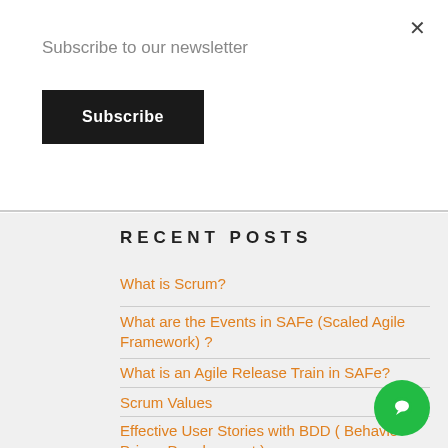Subscribe to our newsletter
Subscribe
Recent Posts
What is Scrum?
What are the Events in SAFe (Scaled Agile Framework) ?
What is an Agile Release Train in SAFe?
Scrum Values
Effective User Stories with BDD ( Behavior Driven Development )